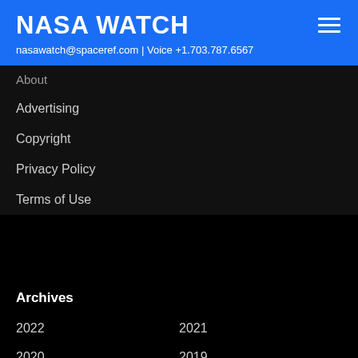NASA WATCH
nasawatch@spaceref.com | Voice +1.703.787.6567
About
Advertising
Copyright
Privacy Policy
Terms of Use
Archives
2022
2021
2020
2019
2018
2017
2016
2015
2014
2013